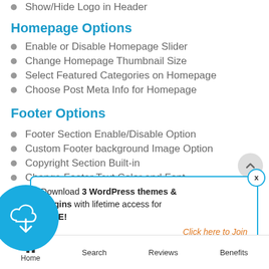Show/Hide Logo in Header
Homepage Options
Enable or Disable Homepage Slider
Change Homepage Thumbnail Size
Select Featured Categories on Homepage
Choose Post Meta Info for Homepage
Footer Options
Footer Section Enable/Disable Option
Custom Footer background Image Option
Copyright Section Built-in
Change Footer Text Color and Font
S…
…
…
[Figure (infographic): Download popup with teal cloud-download icon circle, text: Download 3 WordPress themes & plugins with lifetime access for FREE!, and a Click here to Join link]
Home | Search | Reviews | Benefits